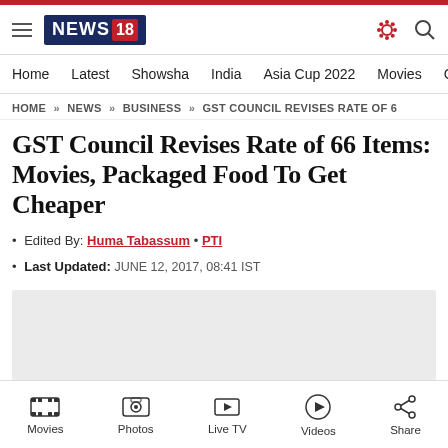[Figure (logo): News18 website logo with hamburger menu, gear icon, and search icon in header]
Home  Latest  Showsha  India  Asia Cup 2022  Movies  C
HOME » NEWS » BUSINESS » GST COUNCIL REVISES RATE OF 6
GST Council Revises Rate of 66 Items: Movies, Packaged Food To Get Cheaper
• Edited By: Huma Tabassum • PTI
• Last Updated: JUNE 12, 2017, 08:41 IST
[Figure (other): Gray advertisement placeholder rectangle with X close button]
Movies  Photos  Live TV  Videos  Share